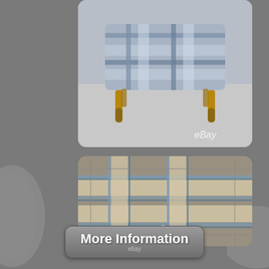[Figure (photo): Plaid/tartan upholstered footstool with wooden cabriole legs on grey background, with eBay watermark]
[Figure (photo): Close-up of grey, blue and beige/cream tartan/plaid fabric swatch with eBay watermark]
More Information
ebay